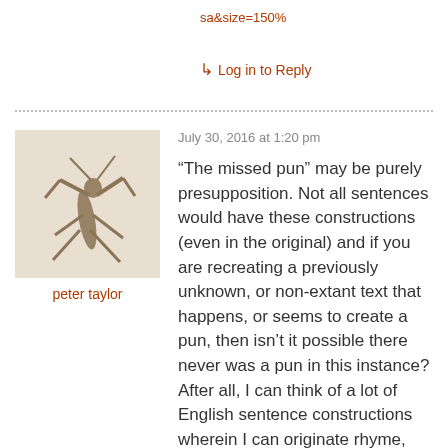sa&size=150%
↳ Log in to Reply
[Figure (photo): Avatar image of a praying mantis sculpture or dried mantis figure]
peter taylor
July 30, 2016 at 1:20 pm
“The missed pun” may be purely presupposition. Not all sentences would have these constructions (even in the original) and if you are recreating a previously unknown, or non-extant text that happens, or seems to create a pun, then isn’t it possible there never was a pun in this instance? After all, I can think of a lot of English sentence constructions wherein I can originate rhyme, word play or create pentameter prose or